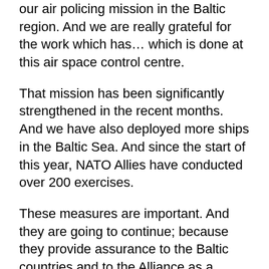our air policing mission in the Baltic region.  And we are really grateful for the work which has… which is done at this air space control centre.
That mission has been significantly strengthened in the recent months. And we have also deployed more ships in the Baltic Sea. And since the start of this year, NATO Allies have conducted over 200 exercises.
These measures are important.  And they are going to continue; because they provide assurance to the Baltic countries and to the Alliance as a whole.  The presence of troops from across the Alliance demonstrates the commitment of all Allies to stand with the Baltic countries.
We are working hard to implement the Readiness Action Plan that we have agreed at our Wales Summit. And it is my top priority to see this plan implemented in full and on time.  Because this plan is the key to ensuring that we are capable to deal with the challenges we face in the future, it is so important to